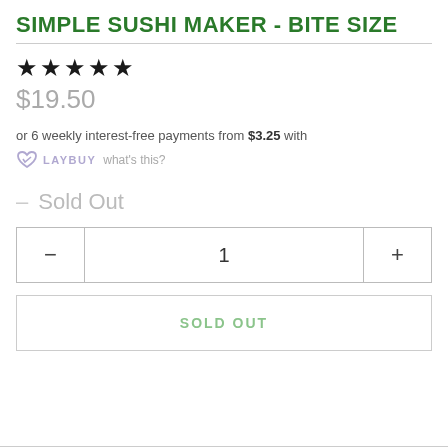SIMPLE SUSHI MAKER - BITE SIZE
★★★★★
$19.50
or 6 weekly interest-free payments from $3.25 with LAYBUY what's this?
– Sold Out
− 1 +
SOLD OUT